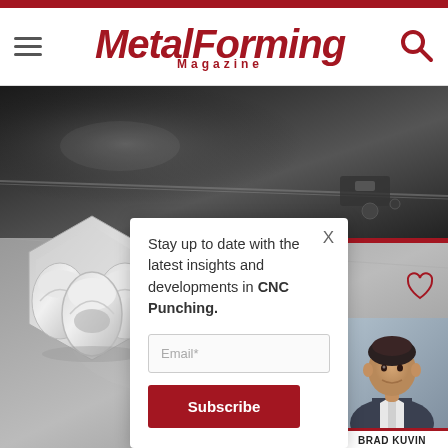MetalForming Magazine
[Figure (photo): Dark metal sheet/plate viewed from an angle on a CNC machine table]
[Figure (photo): CNC punching tool dies - silver metallic stamping/forming tools on a hexagonal base]
Stay up to date with the latest insights and developments in CNC Punching.
Email*
Subscribe
[Figure (photo): Headshot photo of Brad Kuvin]
BRAD KUVIN